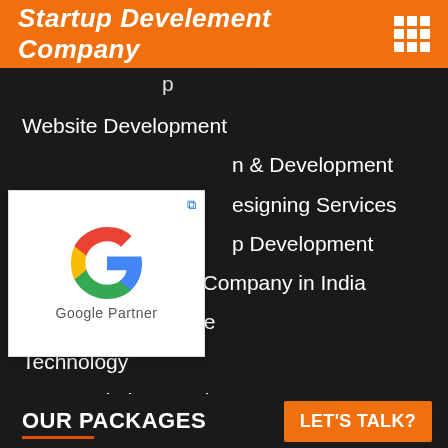Startup Develement Company
Website Development
...n & Development
...esigning Services
...p Development
[Figure (logo): Google Partner badge with Google G logo]
Website Designing Company in India
Ecommerce Website
Technology
CMS Website Development
Wordpress Website Development
Software As A Service
Startup Development Company
OUR PACKAGES
LET'S TALK?